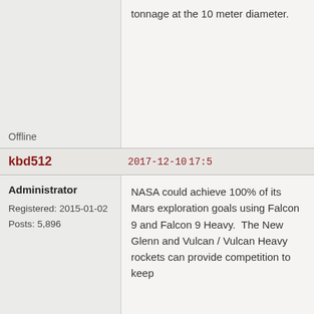tonnage at the 10 meter diameter.
Offline
kbd512
2017-12-10 17:5
Administrator
Registered: 2015-01-02
Posts: 5,896
NASA could achieve 100% of its Mars exploration goals using Falcon 9 and Falcon 9 Heavy.  The New Glenn and Vulcan / Vulcan Heavy rockets can provide competition to keep